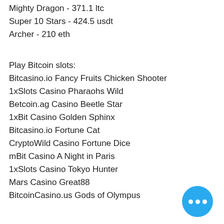Mighty Dragon - 371.1 ltc
Super 10 Stars - 424.5 usdt
Archer - 210 eth
Play Bitcoin slots:
Bitcasino.io Fancy Fruits Chicken Shooter
1xSlots Casino Pharaohs Wild
Betcoin.ag Casino Beetle Star
1xBit Casino Golden Sphinx
Bitcasino.io Fortune Cat
CryptoWild Casino Fortune Dice
mBit Casino A Night in Paris
1xSlots Casino Tokyo Hunter
Mars Casino Great88
BitcoinCasino.us Gods of Olympus
mBTC free bet Supernova
Bitcasino.io Demon Jack 27
1xBit Casino Aeronauts
Betchan Casino Devil's Heat
Oshi Casino Jackpotz